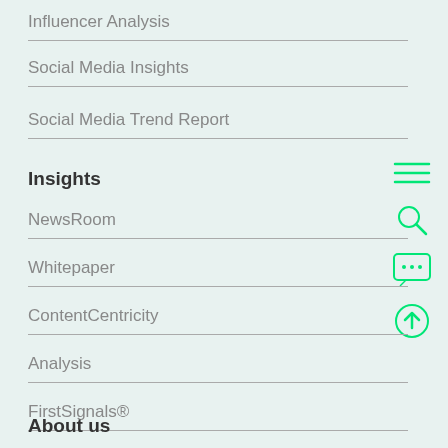Influencer Analysis
Social Media Insights
Social Media Trend Report
Insights
NewsRoom
Whitepaper
ContentCentricity
Analysis
FirstSignals®
[Figure (infographic): Four green outlined icons arranged vertically on the right side: hamburger menu icon, magnifying glass search icon, speech bubble with ellipsis icon, and upload/share arrow-in-circle icon]
About us